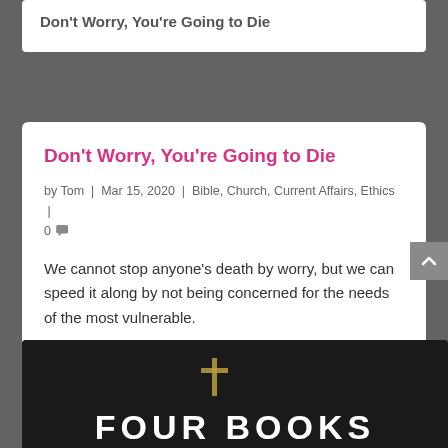Don't Worry, You're Going to Die
Don't Worry, You're Going to Die
by Tom | Mar 15, 2020 | Bible, Church, Current Affairs, Ethics | 0
We cannot stop anyone's death by worry, but we can speed it along by not being concerned for the needs of the most vulnerable.
Read More
[Figure (photo): Dark background image with a book and a cross/plus symbol, with text 'FOUR BOOKS' partially visible at the bottom]